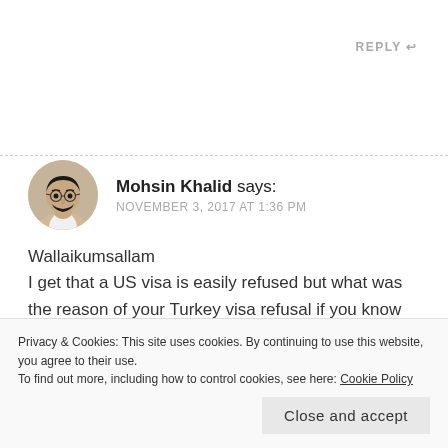REPLY ↩
[Figure (photo): Circular avatar photo of Mohsin Khalid, a man with a beard wearing a light-colored jacket]
Mohsin Khalid says:
NOVEMBER 3, 2017 AT 1:36 PM
Wallaikumsallam
I get that a US visa is easily refused but what was the reason of your Turkey visa refusal if you know the problem then you should address it before you apply for a schengen visa. In my
Privacy & Cookies: This site uses cookies. By continuing to use this website, you agree to their use.
To find out more, including how to control cookies, see here: Cookie Policy
Close and accept